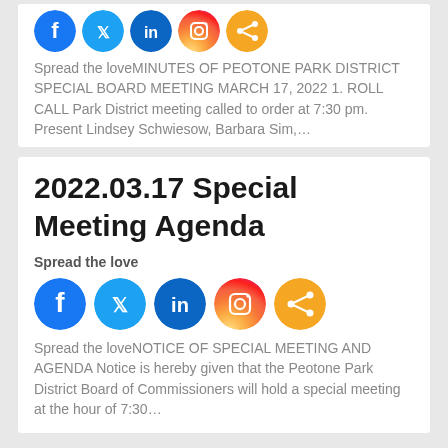[Figure (infographic): Row of 5 social media share icons (Facebook, Twitter, LinkedIn, Instagram, Share) in circular colored buttons]
Spread the loveMINUTES OF PEOTONE PARK DISTRICT SPECIAL BOARD MEETING MARCH 17, 2022 1. ROLL CALL Park District meeting called to order at 7:30 pm. Present Lindsey Schwiesow, Barbara Sim,…
2022.03.17 Special Meeting Agenda
Spread the love
[Figure (infographic): Row of 5 social media share icons (Facebook, Twitter, LinkedIn, Instagram, Share) in circular colored buttons, larger size]
Spread the loveNOTICE OF SPECIAL MEETING AND AGENDA Notice is hereby given that the Peotone Park District Board of Commissioners will hold a special meeting at the hour of 7:30…